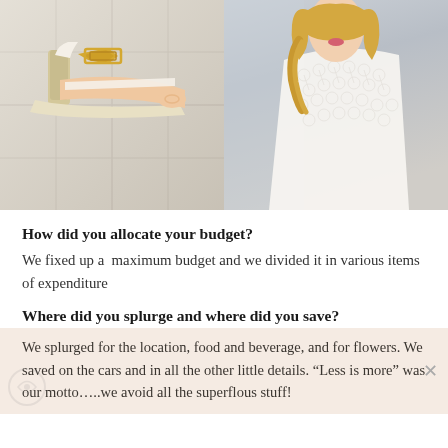[Figure (photo): Two side-by-side photos: left shows a close-up of a white strappy heeled sandal with gold geometric buckle on a tiled floor; right shows a blonde woman in a white lace/crochet wedding dress, blurred background.]
How did you allocate your budget?
We fixed up a  maximum budget and we divided it in various items of expenditure
Where did you splurge and where did you save?
We splurged for the location, food and beverage, and for flowers. We saved on the cars and in all the other little details. “Less is more” was our motto…..we avoid all the superflous stuff!